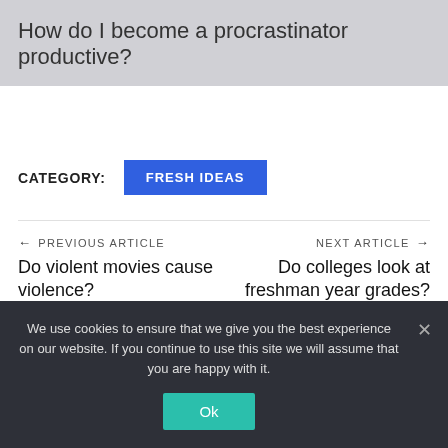How do I become a procrastinator productive?
CATEGORY:  FRESH IDEAS
← PREVIOUS ARTICLE
Do violent movies cause violence?
NEXT ARTICLE →
Do colleges look at freshman year grades?
We use cookies to ensure that we give you the best experience on our website. If you continue to use this site we will assume that you are happy with it.
Ok